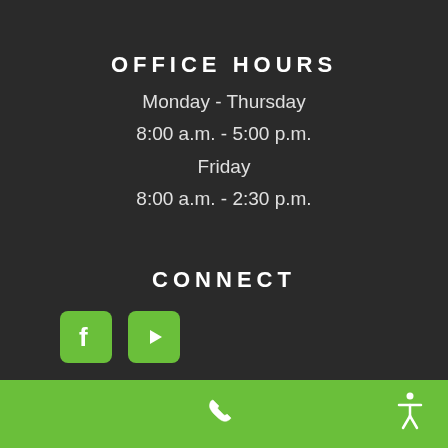OFFICE HOURS
Monday - Thursday
8:00 a.m. - 5:00 p.m.
Friday
8:00 a.m. - 2:30 p.m.
CONNECT
[Figure (logo): Facebook and YouTube social media icons in green rounded square boxes]
[Figure (infographic): Green footer bar with white phone icon in center and white accessibility icon at right]